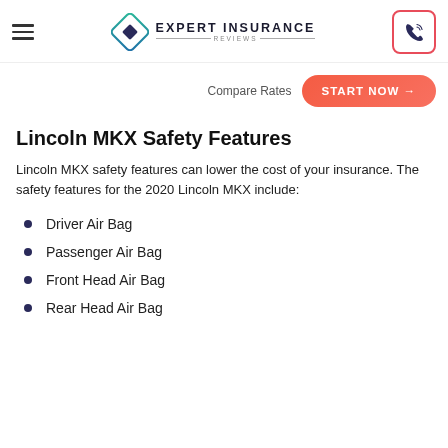Expert Insurance Reviews
Compare Rates  START NOW →
Lincoln MKX Safety Features
Lincoln MKX safety features can lower the cost of your insurance. The safety features for the 2020 Lincoln MKX include:
Driver Air Bag
Passenger Air Bag
Front Head Air Bag
Rear Head Air Bag